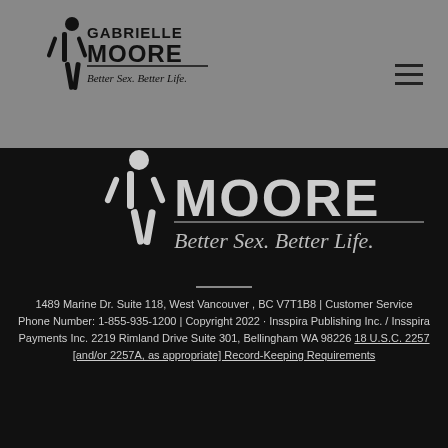[Figure (logo): Gabrielle Moore Better Sex. Better Life. logo in header]
[Figure (logo): Large Gabrielle Moore Better Sex. Better Life. logo in dark banner]
Privacy Policy | Terms and Conditions | Disclaimers | Join Gabrielle Moore's Affiliate Program | Help
1489 Marine Dr. Suite 118, West Vancouver , BC V7T1B8 | Customer Service Phone Number: 1-855-935-1200 | Copyright 2022 · Insspira Publishing Inc. / Insspira Payments Inc. 2219 Rimland Drive Suite 301, Bellingham WA 98226 18 U.S.C. 2257 [and/or 2257A, as appropriate] Record-Keeping Requirements